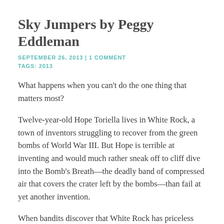Sky Jumpers by Peggy Eddleman
SEPTEMBER 26, 2013 | 1 COMMENT
TAGS: 2013
What happens when you can't do the one thing that matters most?
Twelve-year-old Hope Toriella lives in White Rock, a town of inventors struggling to recover from the green bombs of World War III. But Hope is terrible at inventing and would much rather sneak off to cliff dive into the Bomb's Breath—the deadly band of compressed air that covers the crater left by the bombs—than fail at yet another invention.
When bandits discover that White Rock has priceless antibiotics, they invade. With a two-day deadline to finish making this year's batch and no ingredients to make more, the town is left to choose whether to hand over the medicine and die from the disease that's run rampant since